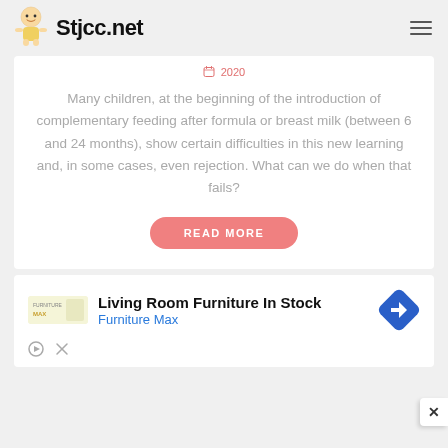Stjcc.net
2020
Many children, at the beginning of the introduction of complementary feeding after formula or breast milk (between 6 and 24 months), show certain difficulties in this new learning and, in some cases, even rejection. What can we do when that fails?
READ MORE
[Figure (screenshot): Advertisement banner: Living Room Furniture In Stock from Furniture Max with store logo and navigation icon]